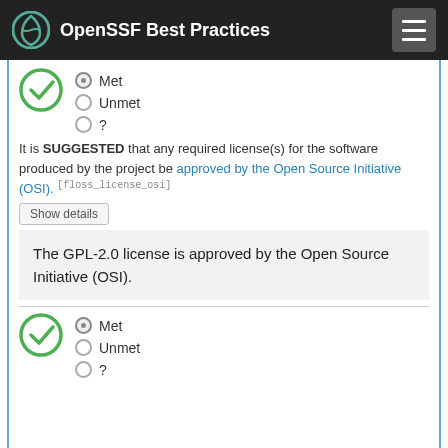OpenSSF Best Practices
[Figure (illustration): Green circle checkmark icon indicating Met status]
Met (selected radio button)
Unmet
?
It is SUGGESTED that any required license(s) for the software produced by the project be approved by the Open Source Initiative (OSI). [floss_license_osi]
Show details
The GPL-2.0 license is approved by the Open Source Initiative (OSI).
[Figure (illustration): Green circle checkmark icon indicating Met status]
Met (selected radio button)
Unmet
?